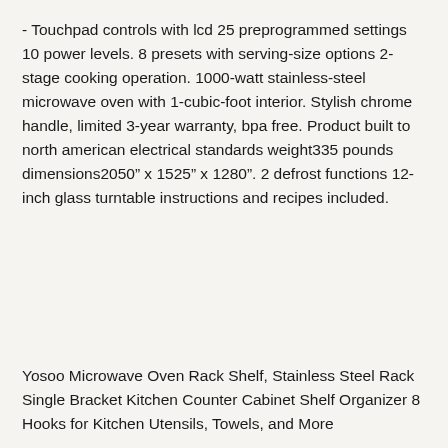- Touchpad controls with lcd 25 preprogrammed settings 10 power levels. 8 presets with serving-size options 2-stage cooking operation. 1000-watt stainless-steel microwave oven with 1-cubic-foot interior. Stylish chrome handle, limited 3-year warranty, bpa free. Product built to north american electrical standards weight335 pounds dimensions2050" x 1525" x 1280". 2 defrost functions 12-inch glass turntable instructions and recipes included.
Yosoo Microwave Oven Rack Shelf, Stainless Steel Rack Single Bracket Kitchen Counter Cabinet Shelf Organizer 8 Hooks for Kitchen Utensils, Towels, and More